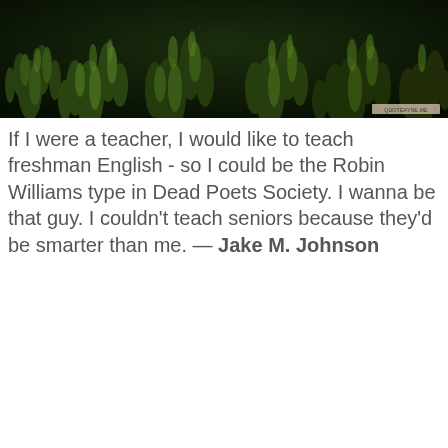[Figure (photo): Dark nature photograph showing green plant tops/foliage against a very dark background, with a small watermark in the bottom right corner.]
If I were a teacher, I would like to teach freshman English - so I could be the Robin Williams type in Dead Poets Society. I wanna be that guy. I couldn't teach seniors because they'd be smarter than me. — Jake M. Johnson